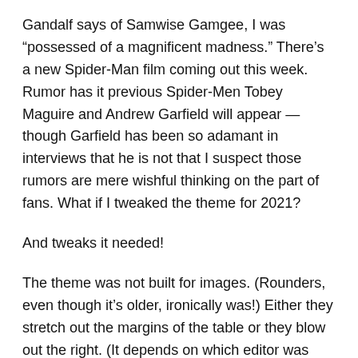Gandalf says of Samwise Gamgee, I was “possessed of a magnificent madness.” There’s a new Spider-Man film coming out this week. Rumor has it previous Spider-Men Tobey Maguire and Andrew Garfield will appear — though Garfield has been so adamant in interviews that he is not that I suspect those rumors are mere wishful thinking on the part of fans. What if I tweaked the theme for 2021?
And tweaks it needed!
The theme was not built for images. (Rounders, even though it’s older, ironically was!) Either they stretch out the margins of the table or they blow out the right. (It depends on which editor was used to write the post.) The theme is barely aware of categories (a basic WordPress feature going back to the beginning) and